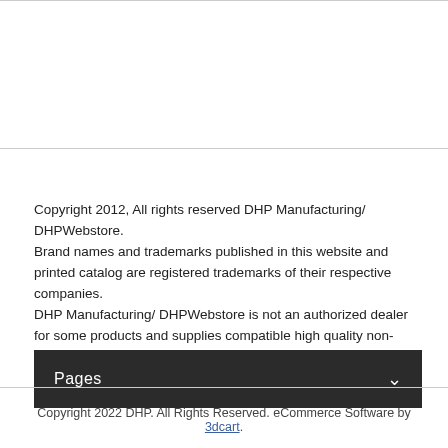Copyright 2012, All rights reserved DHP Manufacturing/ DHPWebstore. Brand names and trademarks published in this website and printed catalog are registered trademarks of their respective companies. DHP Manufacturing/ DHPWebstore is not an authorized dealer for some products and supplies compatible high quality non-genuine replacement parts.
Pages
Copyright 2022 DHP. All Rights Reserved. eCommerce Software by 3dcart.